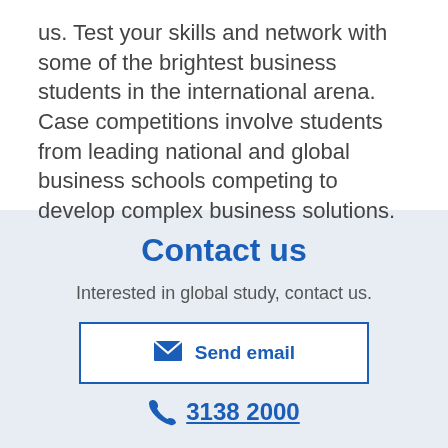us. Test your skills and network with some of the brightest business students in the international arena. Case competitions involve students from leading national and global business schools competing to develop complex business solutions.
Contact us
Interested in global study, contact us.
Send email
3138 2000